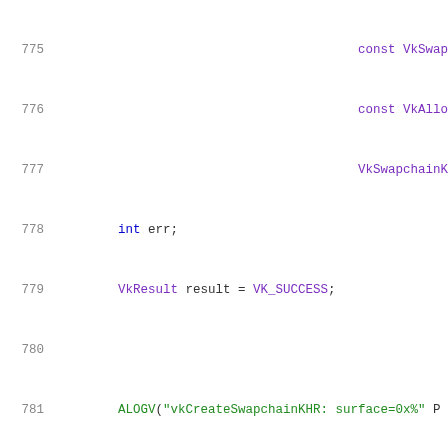[Figure (screenshot): Source code listing showing C++ Vulkan code, lines 775-795, with syntax highlighting: line numbers in gray, keywords in blue, string literals in green, Vulkan types in purple, general code in dark gray.]